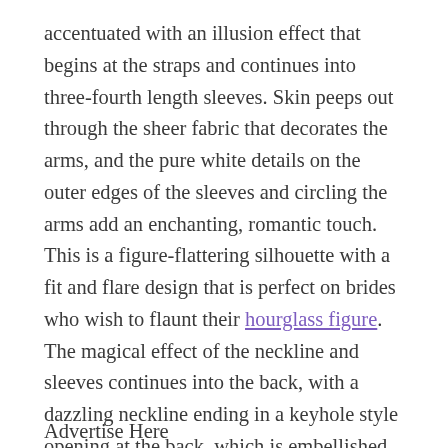accentuated with an illusion effect that begins at the straps and continues into three-fourth length sleeves. Skin peeps out through the sheer fabric that decorates the arms, and the pure white details on the outer edges of the sleeves and circling the arms add an enchanting, romantic touch. This is a figure-flattering silhouette with a fit and flare design that is perfect on brides who wish to flaunt their hourglass figure. The magical effect of the neckline and sleeves continues into the back, with a dazzling neckline ending in a keyhole style opening at the back, which is embellished with a scattering of scintillating elements. The bold and elaborate lace applique details cover the back all the way to the hips, from where it cascades into a gentle foam of layers. This is a dress that can make a statement at a wedding, and render a romantic and sexy look to the bride in it.
Advertise Here